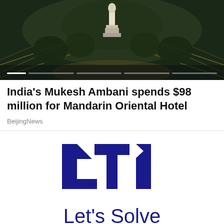[Figure (photo): Aerial night photo of a city landmark with statue and light trails]
India's Mukesh Ambani spends $98 million for Mandarin Oriental Hotel
BeijingNews
[Figure (logo): LTI (Larsen & Toubro Infotech) logo in dark blue with 'Let's Solve' tagline]
LTI constant currency revenues grow 9.2% QoQ